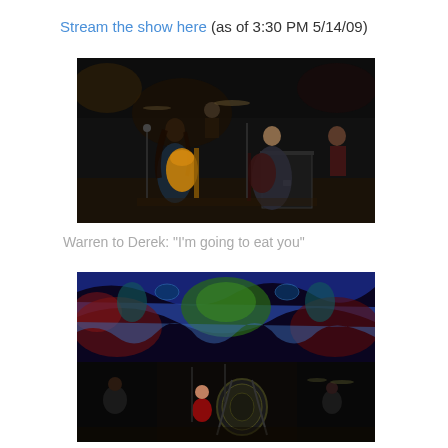Stream the show here (as of 3:30 PM 5/14/09)
[Figure (photo): Concert photo showing two guitarists on stage, one with long hair playing a yellow Les Paul guitar, another in dark shirt playing a dark guitar, with a drummer visible in background]
Warren to Derek: "I'm going to eat you"
[Figure (photo): Concert photo showing musicians on stage with colorful psychedelic projected visuals in background, a performer in red shirt near what appears to be a gong or large percussion instrument]